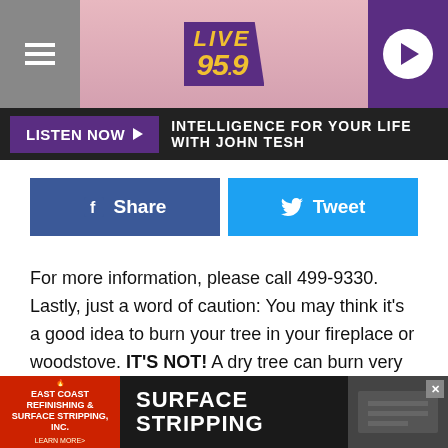[Figure (screenshot): Radio station Live 95.9 website header with hamburger menu, logo, and play button]
LISTEN NOW ▶  INTELLIGENCE FOR YOUR LIFE WITH JOHN TESH
f  Share
🐦  Tweet
For more information, please call 499-9330. Lastly, just a word of caution: You may think it's a good idea to burn your tree in your fireplace or woodstove. IT'S NOT! A dry tree can burn very quickly producing sparks that can fly into the room setting carpets, rugs, even furniture on fire.
Also, sap from fresh trees could create a fire hazard in your chimney or stove piping. Best to play it safe and bring it out with your trash on your appropriate pickup day.
[Figure (other): Advertisement for East Coast Refinishing & Surface Stripping, Inc. with red logo and SURFACE STRIPPING text]